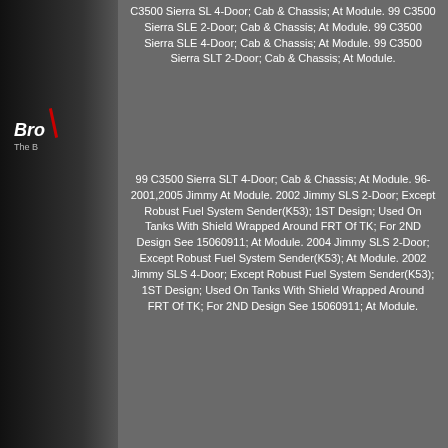C3500 Sierra SL 4-Door; Cab & Chassis; At Module. 99 C3500 Sierra SLE 2-Door; Cab & Chassis; At Module. 99 C3500 Sierra SLE 4-Door; Cab & Chassis; At Module. 99 C3500 Sierra SLT 2-Door; Cab & Chassis; At Module.
99 C3500 Sierra SLT 4-Door; Cab & Chassis; At Module. 96-2001,2005 Jimmy At Module. 2002 Jimmy SLS 2-Door; Except Robust Fuel System Sender(K53); 1ST Design; Used On Tanks With Shield Wrapped Around FRT Of TK; For 2ND Design See 15060911; At Module. 2004 Jimmy SLS 2-Door; Except Robust Fuel System Sender(K53); At Module. 2002 Jimmy SLS 4-Door; Except Robust Fuel System Sender(K53); 1ST Design; Used On Tanks With Shield Wrapped Around FRT Of TK; For 2ND Design See 15060911; At Module.
2004 Jimmy SLS 4-Door; Except Robust Fuel System Sender(K53); At Module. 99 K1500 Sierra SL 2-Door; At Module.
99 K1500 Sierra SL 3-Door; At Module. 99 K1500 Sierra SLE 2-Door; At Module. 99 K1500 Sierra SLE 3-Door; At Module. 99 K1500 Sierra SLT 2-Door; At Module. 99 K1500 Sierra SLT 3-Door; At Module.
98 K1500 (submodel: Sierra SL, Sierra SLE, Sierra SLT, Sierra Special) At Module. 98-99 K1500 Suburban (submodel: Base, SLE, SLT) At Module. 99 K2500 Sierra SL 2-Door; Cab & Chassis; At Module.